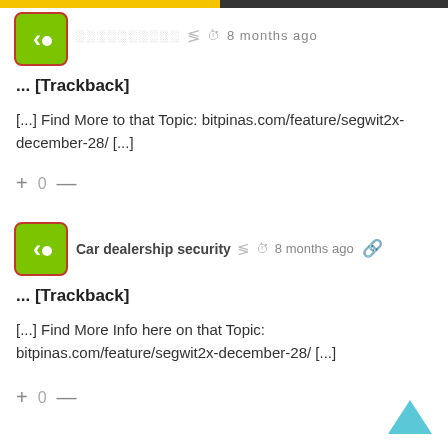[Figure (screenshot): Top navigation bar with yellow and dark sections]
[Figure (logo): Green rounded square logo with left-pointing arrow and dot, first comment avatar]
░░░░░░░░░░  8 months ago
... [Trackback]
[...] Find More to that Topic: bitpinas.com/feature/segwit2x-december-28/ [...]
+ 0 —
[Figure (logo): Green rounded square logo with left-pointing arrow and dot, second comment avatar]
Car dealership security  8 months ago
... [Trackback]
[...] Find More Info here on that Topic: bitpinas.com/feature/segwit2x-december-28/ [...]
+ 0 —